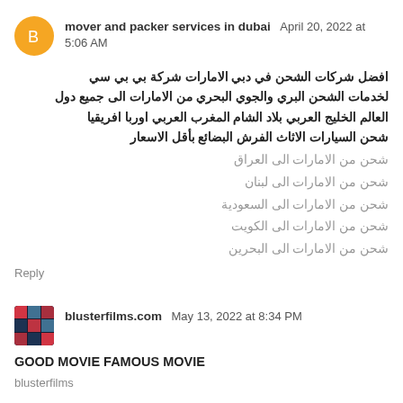mover and packer services in dubai  April 20, 2022 at 5:06 AM
افضل شركات الشحن في دبي الامارات شركة بي بي سي لخدمات الشحن البري والجوي البحري من الامارات الى جميع دول العالم الخليج العربي بلاد الشام المغرب العربي اوربا افريقيا شحن السيارات الاثاث الفرش البضائع بأقل الاسعار
شحن من الامارات الى العراق
شحن من الامارات الى لبنان
شحن من الامارات الى السعودية
شحن من الامارات الى الكويت
شحن من الامارات الى البحرين
Reply
blusterfilms.com  May 13, 2022 at 8:34 PM
GOOD MOVIE FAMOUS MOVIE
blusterfilms